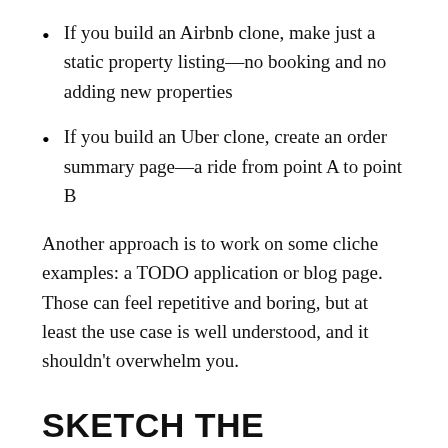If you build an Airbnb clone, make just a static property listing—no booking and no adding new properties
If you build an Uber clone, create an order summary page—a ride from point A to point B
Another approach is to work on some cliche examples: a TODO application or blog page. Those can feel repetitive and boring, but at least the use case is well understood, and it shouldn't overwhelm you.
SKETCH THE INTERFACE
When you've selected your use case, take a pen and paper and draw your interface. You should get started